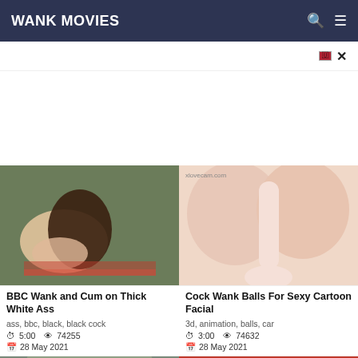WANK MOVIES
[Figure (screenshot): Video thumbnail: two people on a blanket outdoors]
BBC Wank and Cum on Thick White Ass
ass, bbc, black, black cock
5:00  74255  28 May 2021
[Figure (screenshot): Video thumbnail: close-up body part with white liquid]
Cock Wank Balls For Sexy Cartoon Facial
3d, animation, balls, car
3:00  74632  28 May 2021
[Figure (screenshot): Partial thumbnail bottom left]
[Figure (screenshot): Partial thumbnail bottom right with TING-BE text]